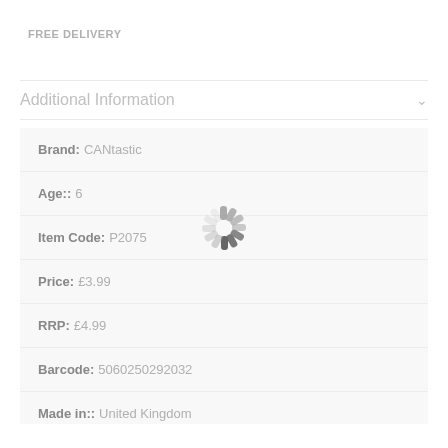FREE DELIVERY
Additional Information
| Field | Value |
| --- | --- |
| Brand: | CANtastic |
| Age:: | 6 |
| Item Code: | P2075 |
| Price: | £3.99 |
| RRP: | £4.99 |
| Barcode: | 5060250292032 |
| Made in:: | United Kingdom |
[Figure (other): Loading spinner / activity indicator overlay on the product detail information panel]